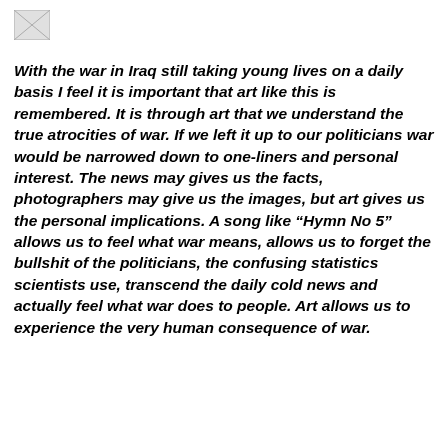[Figure (logo): Small image placeholder icon in top-left corner]
With the war in Iraq still taking young lives on a daily basis I feel it is important that art like this is remembered. It is through art that we understand the true atrocities of war. If we left it up to our politicians war would be narrowed down to one-liners and personal interest. The news may gives us the facts, photographers may give us the images, but art gives us the personal implications. A song like “Hymn No 5” allows us to feel what war means, allows us to forget the bullshit of the politicians, the confusing statistics scientists use, transcend the daily cold news and actually feel what war does to people. Art allows us to experience the very human consequence of war.